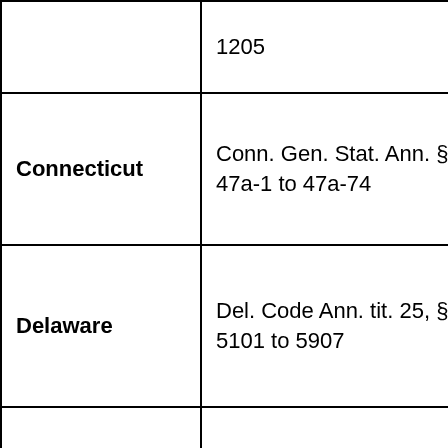| State | Statute |
| --- | --- |
|  | 1205 |
| Connecticut | Conn. Gen. Stat. Ann. §§ 47a-1 to 47a-74 |
| Delaware | Del. Code Ann. tit. 25, §§ 5101 to 5907 |
| Dist. of Columbia | D.C. Code Ann. §§ 42-3201 to 42-3651.08; D.C. Mun. Regs., tit. 14, §§ 300 to |